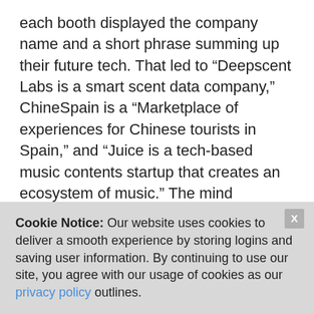each booth displayed the company name and a short phrase summing up their future tech. That led to “Deepscent Labs is a smart scent data company,” ChineSpain is a “Marketplace of experiences for Chinese tourists in Spain,” and “Juice is a tech-based music contents startup that creates an ecosystem of music.” The mind boggles!
The XPRTs’ foray into AI with AIXPRT seems well timed based on this show. Other areas from this
Cookie Notice: Our website uses cookies to deliver a smooth experience by storing logins and saving user information. By continuing to use our site, you agree with our usage of cookies as our privacy policy outlines.